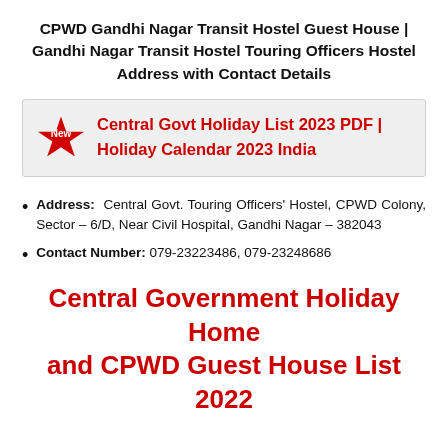CPWD Gandhi Nagar Transit Hostel Guest House | Gandhi Nagar Transit Hostel Touring Officers Hostel Address with Contact Details
Central Govt Holiday List 2023 PDF | Holiday Calendar 2023 India
Address: Central Govt. Touring Officers' Hostel, CPWD Colony, Sector – 6/D, Near Civil Hospital, Gandhi Nagar – 382043
Contact Number: 079-23223486, 079-23248686
Central Government Holiday Home and CPWD Guest House List 2022